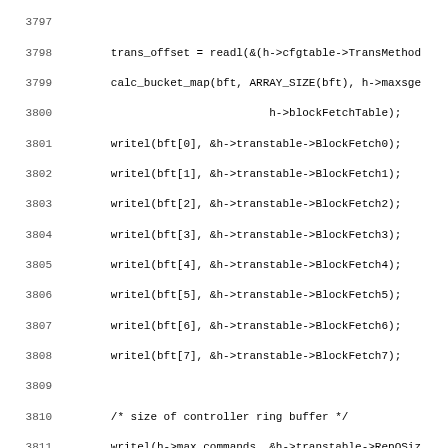[Figure (screenshot): Source code listing in C showing lines 3797-3829 of a Linux kernel driver (cciss), displaying function body with writel calls for block fetch table, controller ring buffer setup, and start of cciss_put_controller_into_performant function.]